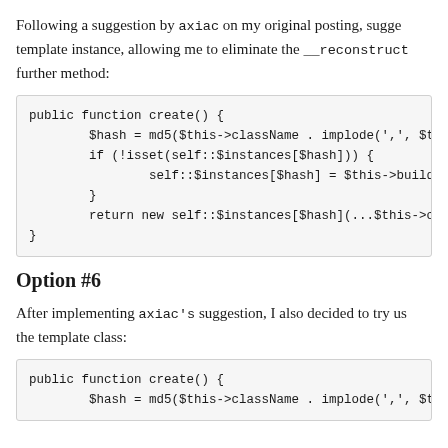Following a suggestion by axiac on my original posting, suggesting storing the template instance, allowing me to eliminate the __reconstruct further method:
public function create() {
    $hash = md5($this->className . implode(',', $this->
    if (!isset(self::$instances[$hash])) {
        self::$instances[$hash] = $this->buildDefinitio
    }
    return new self::$instances[$hash](...$this->constr
}
Option #6
After implementing axiac's suggestion, I also decided to try using the template class:
public function create() {
    $hash = md5($this->className . implode(',', $this->